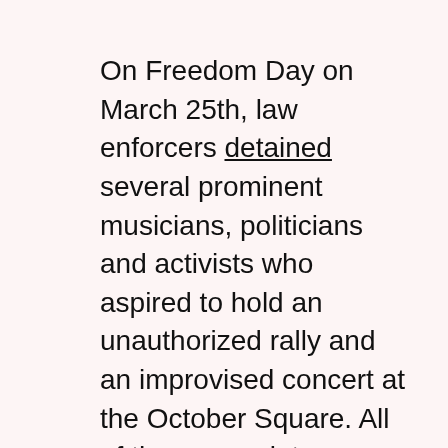On Freedom Day on March 25th, law enforcers detained several prominent musicians, politicians and activists who aspired to hold an unauthorized rally and an improvised concert at the October Square. All of them were later released without charges. That said, Dashkevich, who was detained at an authorized event at the Kiev Square, was handed out a BYN 1,100 fine.
The economic authorities aim to develop the stock and securities market, which should appeal to potential investors. To this end, the Finance Ministry has proposed to abandon the preemptive right of executive committees to acquire shares, which has a restraining effect on investments in the regions. In addition, economic authorities envisage reducing the